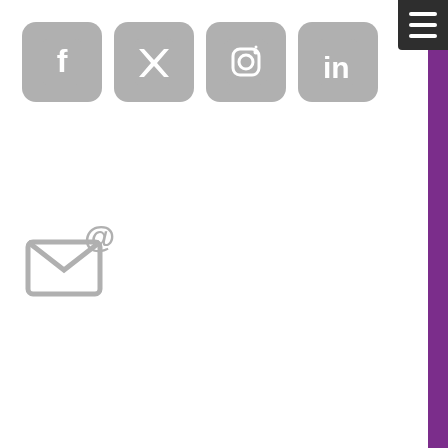[Figure (logo): Social media icons: Facebook, Twitter, Instagram, LinkedIn in gray rounded square buttons]
[Figure (logo): Email icon with @ symbol in gray]
[Figure (logo): Hamburger menu icon in dark gray square in top right corner]
Sponsored by
[Figure (logo): SAS Official SAS Users Group logo with S swirl mark and blue banner]